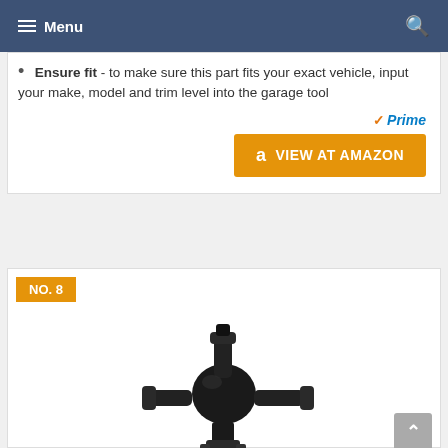Menu
Ensure fit - to make sure this part fits your exact vehicle, input your make, model and trim level into the garage tool
Prime
VIEW AT AMAZON
NO. 8
[Figure (photo): Black automotive valve/sensor part with multiple ports and connector, shown on white background]